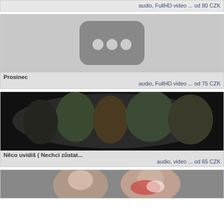[Figure (screenshot): Partial card top showing audio/video metadata text]
audio, FullHD video ... od 80 CZK
[Figure (photo): YouTube-style placeholder thumbnail with three dots icon on grey background]
Prosinec
audio, FullHD video ... od 75 CZK
[Figure (photo): Photo of people walking outdoors, group of young people, dark/blurry photo]
Něco uvidiš ( Nechci zůstat...
audio, video ... od 65 CZK
[Figure (photo): Partial photo at bottom showing two people smiling]